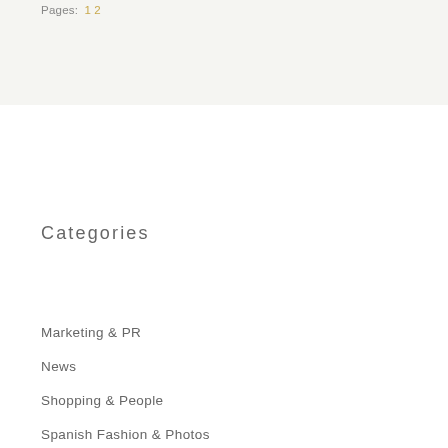Pages: 1 2
Categories
Marketing & PR
News
Shopping & People
Spanish Fashion & Photos